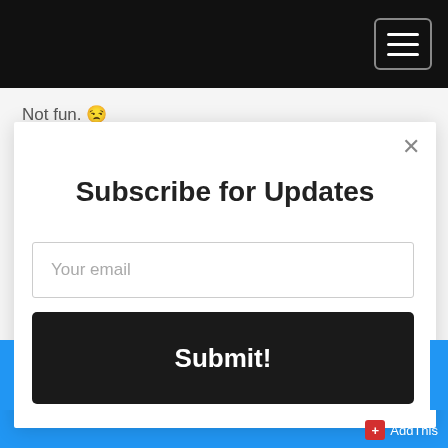Navigation bar with hamburger menu
Not fun. 😒
[Figure (screenshot): Subscribe for Updates modal dialog with email input field showing placeholder text 'Your email' and a black Submit! button]
AddThis